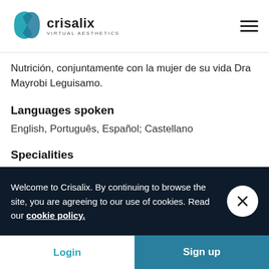Crisalix Virtual Aesthetics
Nutrición, conjuntamente con la mujer de su vida Dra Mayrobi Leguisamo.
Languages spoken
English, Português, Español; Castellano
Specialities
Welcome to Crisalix. By continuing to browse the site, you are agreeing to our use of cookies. Read our cookie policy.
Login    Sign up